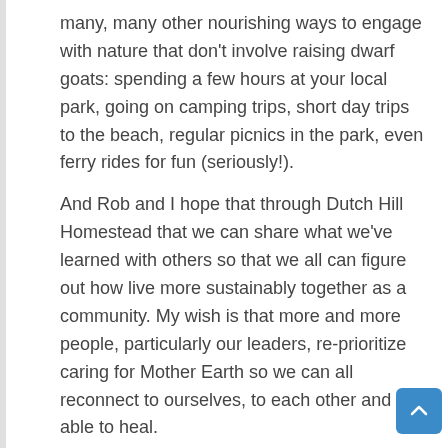many, many other nourishing ways to engage with nature that don't involve raising dwarf goats: spending a few hours at your local park, going on camping trips, short day trips to the beach, regular picnics in the park, even ferry rides for fun (seriously!).
And Rob and I hope that through Dutch Hill Homestead that we can share what we've learned with others so that we all can figure out how live more sustainably together as a community. My wish is that more and more people, particularly our leaders, re-prioritize caring for Mother Earth so we can all reconnect to ourselves, to each other and be able to heal.
Editor's note: If you are suffering from or think you're suffering from IRS, it's crucial to speak to your doctor as